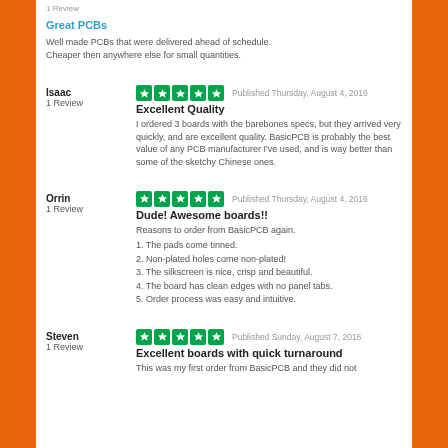1 Review
Great PCBs
Well made PCBs that were delivered ahead of schedule. Cheaper then anywhere else for small quantities.
Isaac
1 Review
Published Thursday, August 4, 2016
Excellent Quality
I ordered 3 boards with the barebones specs, but they arrived very quickly, and are excellent quality. BasicPCB is probably the best value of any PCB manufacturer I've used, and is way better than some of the sketchy Chinese ones.
Orrin
1 Review
Published Thursday, August 4, 2016
Dude! Awesome boards!!
Reasons to order from BasicPCB again.
1.  The pads come tinned.
2.  Non-plated holes come non-plated!
3.  The silkscreen is nice, crisp and beautiful.
4.  The board has clean edges with no panel tabs.
5.  Order process was easy and intuitive.
Steven
1 Review
Published Sunday, August 7, 2016
Excellent boards with quick turnaround
This was my first order from BasicPCB and they did not